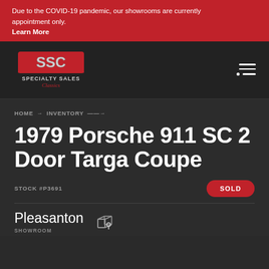Due to the COVID-19 pandemic, our showrooms are currently appointment only. Learn More
[Figure (logo): Specialty Sales Classics logo — stylized SSC letters in chrome with red banner, text 'SPECIALTY SALES' above 'Classics' in red script]
HOME → INVENTORY →
1979 Porsche 911 SC 2 Door Targa Coupe
STOCK #P3691  SOLD
Pleasanton
SHOWROOM